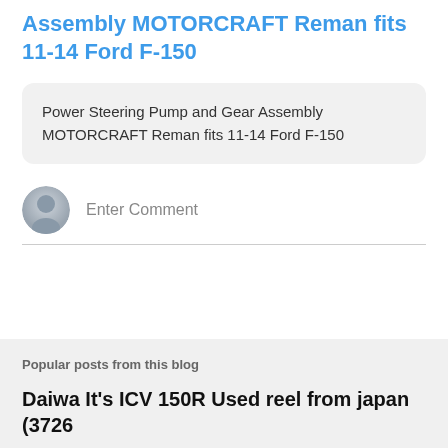Assembly MOTORCRAFT Reman fits 11-14 Ford F-150
Power Steering Pump and Gear Assembly MOTORCRAFT Reman fits 11-14 Ford F-150
Enter Comment
Popular posts from this blog
Daiwa It's ICV 150R Used reel from japan (3726